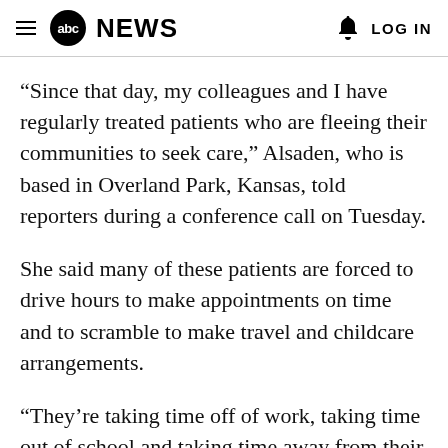abc NEWS   LOG IN
“Since that day, my colleagues and I have regularly treated patients who are fleeing their communities to seek care,” Alsaden, who is based in Overland Park, Kansas, told reporters during a conference call on Tuesday.
She said many of these patients are forced to drive hours to make appointments on time and to scramble to make travel and childcare arrangements.
“They’re taking time off of work, taking time out of school and taking time away from their family responsibilities to get the care that